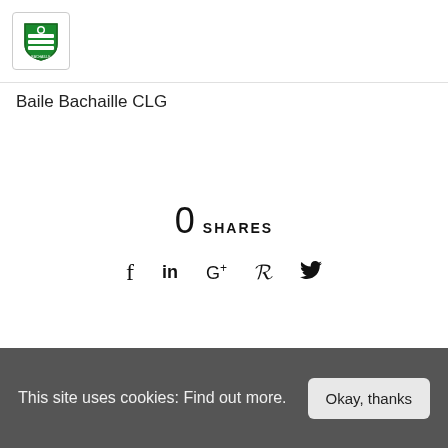[Figure (logo): Baile Bachaille CLG shield logo in green and white with horizontal lines]
Baile Bachaille CLG
0 SHARES
[Figure (infographic): Social media share icons: Facebook (f), LinkedIn (in), Google+ (G+), Pinterest (P), Twitter (bird)]
Related Posts
This site uses cookies: Find out more.